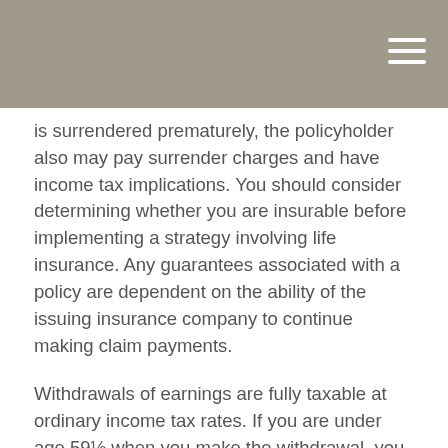[header bar with menu icon]
is surrendered prematurely, the policyholder also may pay surrender charges and have income tax implications. You should consider determining whether you are insurable before implementing a strategy involving life insurance. Any guarantees associated with a policy are dependent on the ability of the issuing insurance company to continue making claim payments.
Withdrawals of earnings are fully taxable at ordinary income tax rates. If you are under age 59½ when you make the withdrawal, you may be subject to surrender charges and assessed a 10% federal income tax penalty. Also, withdrawals will reduce the benefits and value of the contract. Life insurance is not FDIC insured. It is not insured by any federal government agency or bank or savings association.
Generally, loans taken from a policy will be free of current